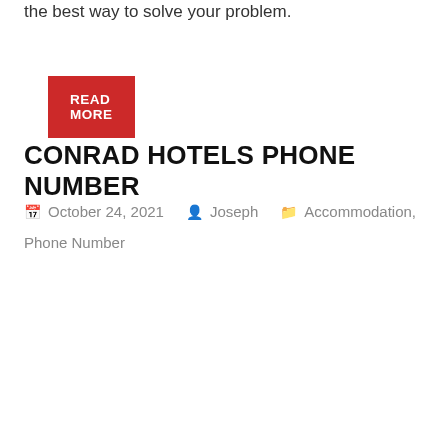the best way to solve your problem.
READ MORE
CONRAD HOTELS PHONE NUMBER
October 24, 2021   Joseph   Accommodation, Phone Number